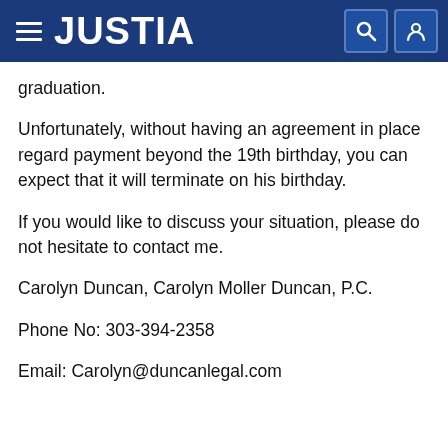JUSTIA
graduation.
Unfortunately, without having an agreement in place regard payment beyond the 19th birthday, you can expect that it will terminate on his birthday.
If you would like to discuss your situation, please do not hesitate to contact me.
Carolyn Duncan, Carolyn Moller Duncan, P.C.
Phone No: 303-394-2358
Email: Carolyn@duncanlegal.com